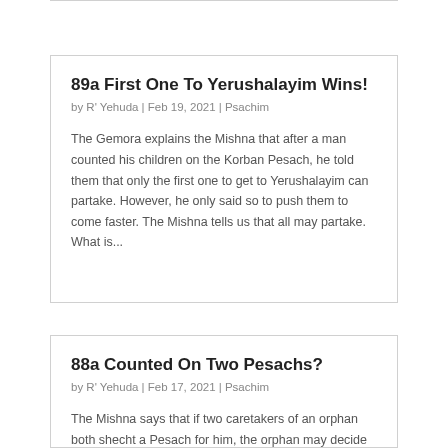89a First One To Yerushalayim Wins!
by R' Yehuda | Feb 19, 2021 | Psachim
The Gemora explains the Mishna that after a man counted his children on the Korban Pesach, he told them that only the first one to get to Yerushalayim can partake. However, he only said so to push them to come faster. The Mishna tells us that all may partake.  What is...
88a Counted On Two Pesachs?
by R' Yehuda | Feb 17, 2021 | Psachim
The Mishna says that if two caretakers of an orphan both shecht a Pesach for him, the orphan may decide from which one he will eat.  To execute...